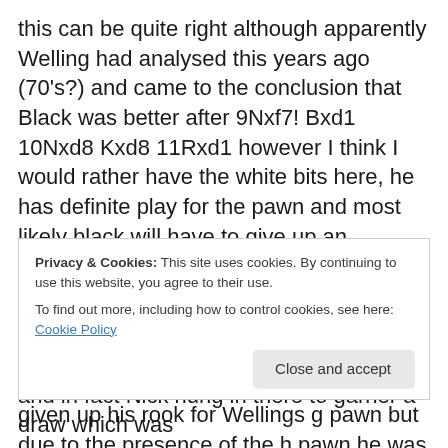this can be quite right although apparently Welling had analysed this years ago (70's?) and came to the conclusion that Black was better after 9Nxf7! Bxd1 10Nxd8 Kxd8 11Rxd1 however I think I would rather have the white bits here, he has definite play for the pawn and most likely black will have to give up an exchange at some point. In the end and after a 100 odd moves or so the exhausted protagonists ended up in a position where Welling had two knights against nicks h pawn. Nick had actually given up his rook for Wellings g pawn but due to the presence of the h pawn he was actually lost as Petr
Privacy & Cookies: This site uses cookies. By continuing to use this website, you agree to their use. To find out more, including how to control cookies, see here: Cookie Policy
and in fact Nick hung in there to garner a draw which was